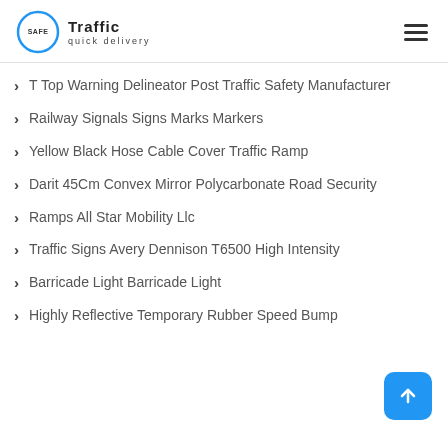Safe Traffic quick delivery
T Top Warning Delineator Post Traffic Safety Manufacturer
Railway Signals Signs Marks Markers
Yellow Black Hose Cable Cover Traffic Ramp
Darit 45Cm Convex Mirror Polycarbonate Road Security
Ramps All Star Mobility Llc
Traffic Signs Avery Dennison T6500 High Intensity
Barricade Light Barricade Light
Highly Reflective Temporary Rubber Speed Bump